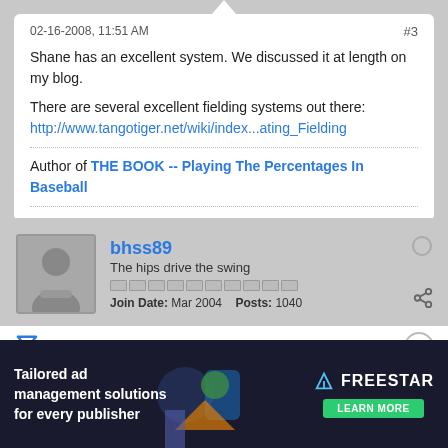02-16-2008, 11:51 AM
#3
Shane has an excellent system. We discussed it at length on my blog.
There are several excellent fielding systems out there:
http://www.tangotiger.net/wiki/index...ating_Fielding
Author of THE BOOK -- Playing The Percentages In Baseball
bhss89
The hips drive the swing
Join Date: Mar 2004   Posts: 1040
02-16-2008, 12:34 PM
Tom, I would say there are several fielding systems out there, a few of which a... versus anyone... would have e... any of the SABR-created... new senior slots are very helpful as a hit coach. The defensive systems, however, will never replace positioning and
[Figure (infographic): Advertisement banner: Tailored ad management solutions for every publisher - FREESTAR with LEARN MORE button and decorative graphic elements]